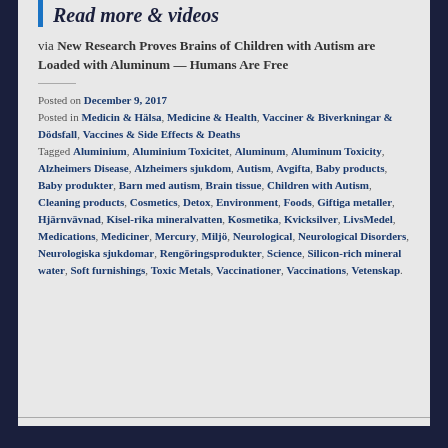Read more & videos
via New Research Proves Brains of Children with Autism are Loaded with Aluminum — Humans Are Free
Posted on December 9, 2017
Posted in Medicin & Hälsa, Medicine & Health, Vacciner & Biverkningar & Dödsfall, Vaccines & Side Effects & Deaths
Tagged Aluminium, Aluminium Toxicitet, Aluminum, Aluminum Toxicity, Alzheimers Disease, Alzheimers sjukdom, Autism, Avgifta, Baby products, Baby produkter, Barn med autism, Brain tissue, Children with Autism, Cleaning products, Cosmetics, Detox, Environment, Foods, Giftiga metaller, Hjärnvävnad, Kisel-rika mineralvatten, Kosmetika, Kvicksilver, LivsMedel, Medications, Mediciner, Mercury, Miljö, Neurological, Neurological Disorders, Neurologiska sjukdomar, Rengöringsprodukter, Science, Silicon-rich mineral water, Soft furnishings, Toxic Metals, Vaccinationer, Vaccinations, Vetenskap.